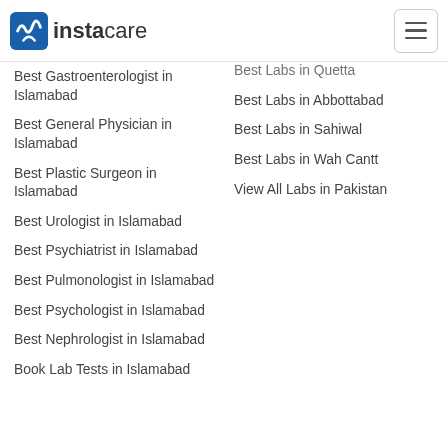instacare
Best Gastroenterologist in Islamabad
Best General Physician in Islamabad
Best Plastic Surgeon in Islamabad
Best Urologist in Islamabad
Best Psychiatrist in Islamabad
Best Pulmonologist in Islamabad
Best Psychologist in Islamabad
Best Nephrologist in Islamabad
Book Lab Tests in Islamabad
Best Labs in Quetta
Best Labs in Abbottabad
Best Labs in Sahiwal
Best Labs in Wah Cantt
View All Labs in Pakistan